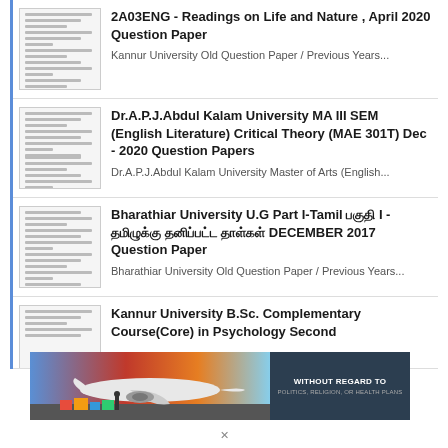2A03ENG - Readings on Life and Nature , April 2020 Question Paper
Kannur University Old Question Paper / Previous Years...
Dr.A.P.J.Abdul Kalam University MA III SEM (English Literature) Critical Theory (MAE 301T) Dec - 2020 Question Papers
Dr.A.P.J.Abdul Kalam University Master of Arts (English...
Bharathiar University U.G Part I-Tamil பகுதி I - தமிழுக்கு தனிப்பட்ட தாள்கள் DECEMBER 2017 Question Paper
Bharathiar University Old Question Paper / Previous Years...
Kannur University B.Sc. Complementary Course(Core) in Psychology Second
[Figure (photo): Advertisement banner showing an airplane being loaded with cargo, with text 'WITHOUT REGARD TO POLITICS, RELIGION, OR HEALTH PLANS']